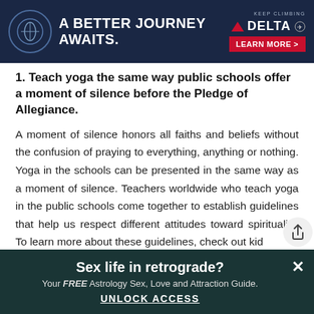[Figure (other): Delta Airlines advertisement banner with dark navy background, leaf logo, text 'A BETTER JOURNEY AWAITS.' and 'KEEP CLIMBING DELTA' with 'LEARN MORE >' button in red]
1. Teach yoga the same way public schools offer a moment of silence before the Pledge of Allegiance.
A moment of silence honors all faiths and beliefs without the confusion of praying to everything, anything or nothing. Yoga in the schools can be presented in the same way as a moment of silence. Teachers worldwide who teach yoga in the public schools come together to establish guidelines that help us respect different attitudes toward spirituality. To learn more about these guidelines, check out kid
[Figure (other): Popup banner with dark teal background: 'Sex life in retrograde?' headline, 'Your FREE Astrology Sex, Love and Attraction Guide.' subtext, 'UNLOCK ACCESS' CTA link, and X close button]